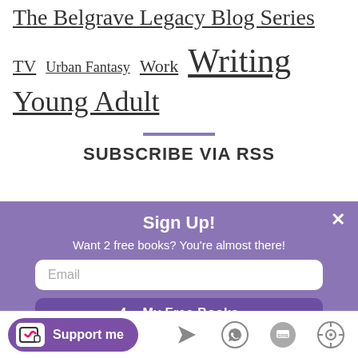The Belgrave Legacy Blog Series
TV  Urban Fantasy  Work  Writing
Young Adult
SUBSCRIBE VIA RSS
Sign Up!
Want 2 free books? You're almost there!
Email
Support me